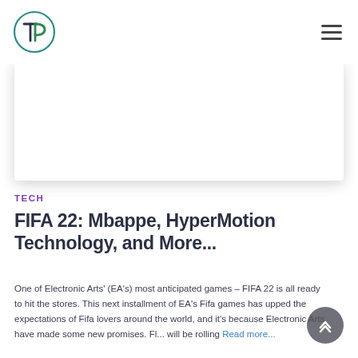TP logo | hamburger menu
[Figure (photo): White/light gray rectangular image placeholder with drop shadow, representing a featured article image for FIFA 22 article]
TECH
FIFA 22: Mbappe, HyperMotion Technology, and More...
One of Electronic Arts' (EA's) most anticipated games – FIFA 22 is all ready to hit the stores. This next installment of EA's Fifa games has upped the expectations of Fifa lovers around the world, and it's because Electronic Arts have made some new promises. Fl... will be rolling Read more...